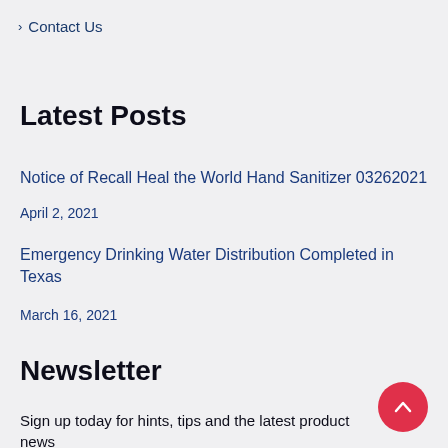Contact Us
Latest Posts
Notice of Recall Heal the World Hand Sanitizer 03262021
April 2, 2021
Emergency Drinking Water Distribution Completed in Texas
March 16, 2021
Newsletter
Sign up today for hints, tips and the latest product news